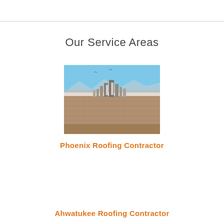Our Service Areas
[Figure (photo): Aerial view of Phoenix, Arizona cityscape with blue sky and mountains in background, showing urban sprawl and downtown buildings]
Phoenix Roofing Contractor
Ahwatukee Roofing Contractor